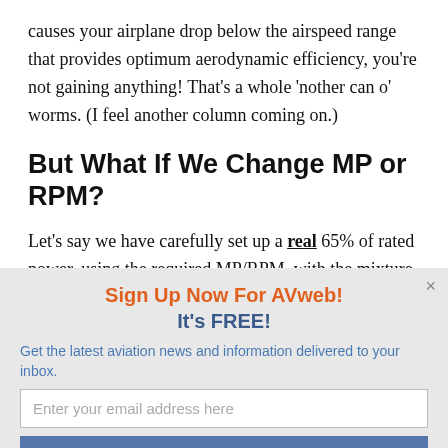causes your airplane drop below the airspeed range that provides optimum aerodynamic efficiency, you're not gaining anything! That's a whole 'nother can o' worms. (I feel another column coming on.)
But What If We Change MP or RPM?
Let's say we have carefully set up a real 65% of rated power, using the required MP/RPM, with the mixture leaned to Best
Sign Up Now For AVweb! It's FREE!
Get the latest aviation news and information delivered to your inbox.
Enter your email address here
Sign Me Up!